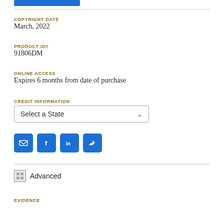COPYRIGHT DATE
March, 2022
PRODUCT ID#
91806DM
ONLINE ACCESS
Expires 6 months from date of purchase
CREDIT INFORMATION
[Figure (other): Dropdown selector labeled 'Select a State']
[Figure (other): Social media icons: email, Facebook, LinkedIn, Twitter]
Advanced
EVIDENCE